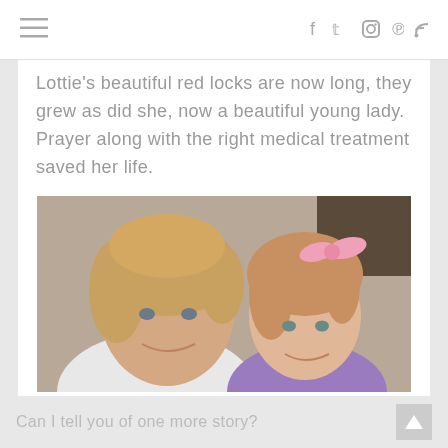≡   f  tw  ⊙  ℗  ⊳
Lottie's beautiful red locks are now long, they grew as did she, now a beautiful young lady. Prayer along with the right medical treatment saved her life.
[Figure (photo): A woman with short blonde hair wearing a white top smiling next to a young girl with reddish-blonde hair wearing a pink bow and purple top, both smiling at the camera.]
Can I tell you of one more story?